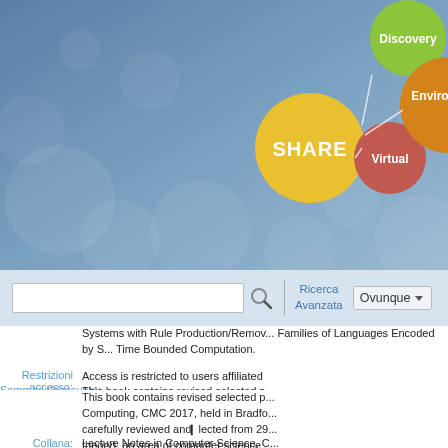[Figure (infographic): SHARE platform header with interconnected concept bubbles: SHARE (large yellow), Discovery (green), Virtual (red/brown), Environment (orange), on a blue gradient background with decorative circles]
[Figure (screenshot): Search bar area with text input, magnifying glass icon, Ricerca Avanzata link, and Ovunque dropdown]
Systems with Rule Production/Removal... Families of Languages Encoded by S... Time Bounded Computation.
Restrizioni accesso: Access is restricted to users affiliated...
Sommario/riassunto: This book contains revised selected p... Computing, CMC 2017, held in Bradfo... were carefully reviewed and selected... systems theory), an area of computer... structure and the functioning of living... higher order structures. The volume a...
This book contains revised selected p... Computing, CMC 2017, held in Bradfo... carefully reviewed and selected from 29... theory), an area of computer science... and the functioning of living cells, as w... order structures. The volume also co...
Collana: Lecture Notes in Computer Science, C... LNCS sublibrary. SL 1, Theoretical co...